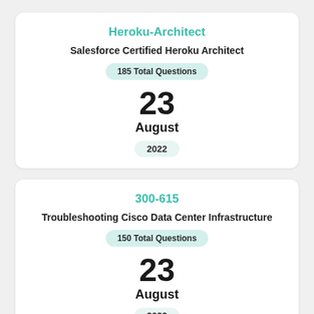Heroku-Architect
Salesforce Certified Heroku Architect
185 Total Questions
23
August
2022
300-615
Troubleshooting Cisco Data Center Infrastructure
150 Total Questions
23
August
2022